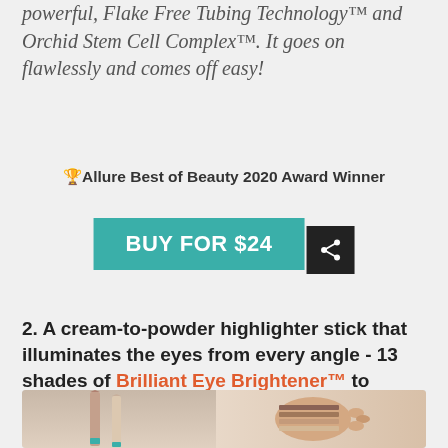powerful, Flake Free Tubing Technology™ and Orchid Stem Cell Complex™. It goes on flawlessly and comes off easy!
🏆Allure Best of Beauty 2020 Award Winner
[Figure (other): Teal 'BUY FOR $24' button with a dark share icon button to the right]
2. A cream-to-powder highlighter stick that illuminates the eyes from every angle - 13 shades of Brilliant Eye Brightener™ to choose from.
[Figure (photo): Two highlighter pencil sticks on the left and a hand with multiple shade swatches on the right]